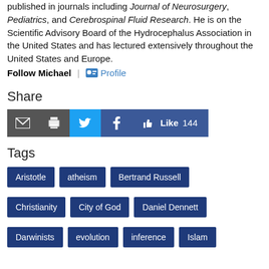published in journals including Journal of Neurosurgery, Pediatrics, and Cerebrospinal Fluid Research. He is on the Scientific Advisory Board of the Hydrocephalus Association in the United States and has lectured extensively throughout the United States and Europe.
Follow Michael | Profile
Share
[Figure (infographic): Share buttons: email (grey), print (grey), Twitter (blue bird icon), Facebook (blue f icon), Like button with count 144]
Tags
Aristotle
atheism
Bertrand Russell
Christianity
City of God
Daniel Dennett
Darwinists
evolution
inference
Islam